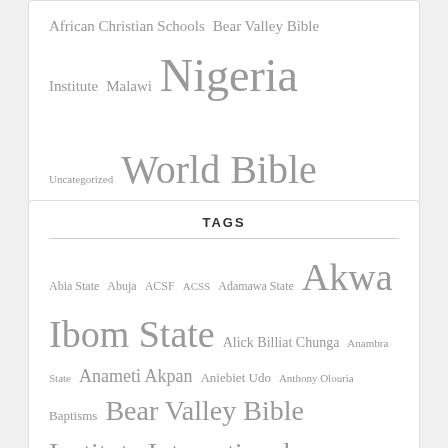[Figure (other): Tag cloud showing: African Christian Schools, Bear Valley Bible Institute, Malawi, Nigeria (large), Uncategorized, World Bible School (large)]
TAGS
[Figure (other): Tag cloud showing: Abia State, Abuja, ACSF, ACSS, Adamawa State, Akwa Ibom State (very large), Alick Billiat Chunga, Anambra State, Anameti Akpan, Aniebiet Udo, Anthony Olouria, Baptisms, Bear Valley Bible Institute International (large), Benevolence]